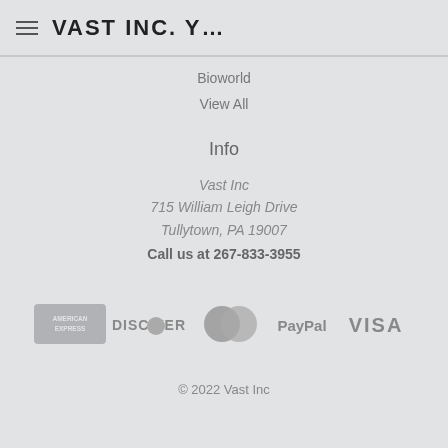VAST INC. Y…
Bioworld
View All
Info
Vast Inc
715 William Leigh Drive
Tullytown, PA 19007
Call us at 267-833-3955
[Figure (logo): Payment method logos: American Express, Discover, MasterCard, PayPal, Visa]
© 2022 Vast Inc